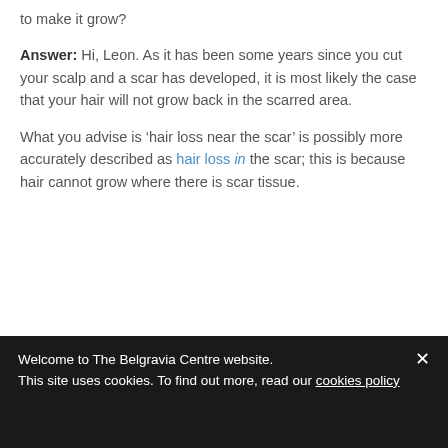to make it grow?
Answer: Hi, Leon. As it has been some years since you cut your scalp and a scar has developed, it is most likely the case that your hair will not grow back in the scarred area.
What you advise is ‘hair loss near the scar’ is possibly more accurately described as hair loss in the scar; this is because hair cannot grow where there is scar tissue.
Welcome to The Belgravia Centre website.
This site uses cookies. To find out more, read our cookies policy